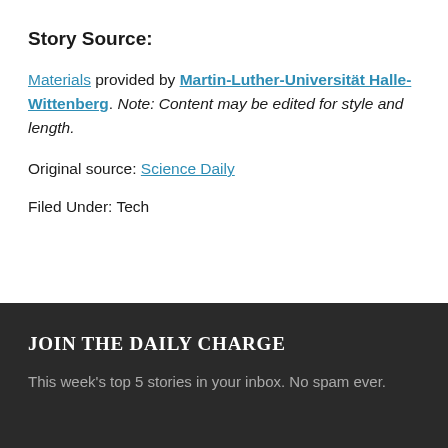Story Source:
Materials provided by Martin-Luther-Universität Halle-Wittenberg. Note: Content may be edited for style and length.
Original source: Science Daily
Filed Under: Tech
JOIN THE DAILY CHARGE
This week's top 5 stories in your inbox. No spam ever.